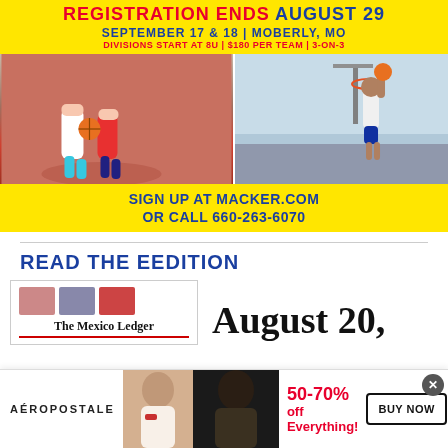[Figure (infographic): Basketball tournament advertisement banner with yellow background, red and blue text reading 'REGISTRATION ENDS AUGUST 29', 'SEPTEMBER 17 & 18 | MOBERLY, MO', 'DIVISIONS START AT 8U | $180 PER TEAM | 3-ON-3', photos of youth and adult basketball players, and 'SIGN UP AT MACKER.COM OR CALL 660-263-6070']
READ THE EEDITION
[Figure (screenshot): Thumbnail of The Mexico Ledger newspaper eedition page]
August 20,
[Figure (infographic): Aeropostale advertisement banner showing models and '50-70% off Everything!' with BUY NOW button]